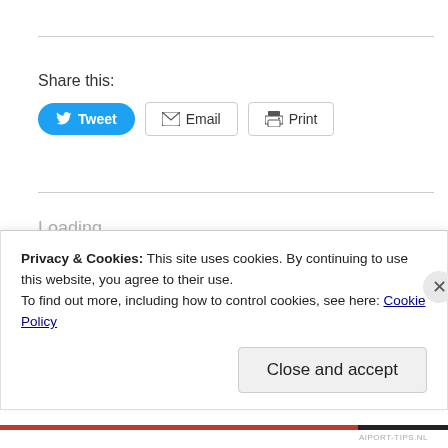Share this:
[Figure (other): Share buttons: Tweet (Twitter), Email, Print]
Loading...
Happy Hotelier / August 4, 2010 / The Hague Food &
Privacy & Cookies: This site uses cookies. By continuing to use this website, you agree to their use.
To find out more, including how to control cookies, see here: Cookie Policy
Close and accept